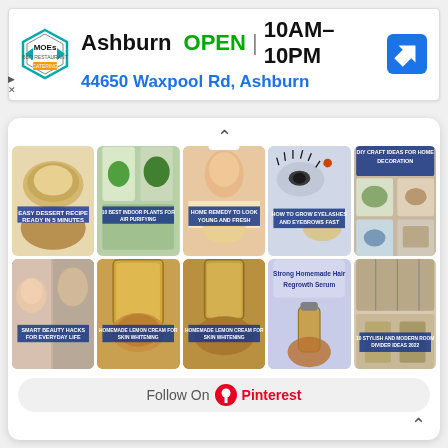[Figure (screenshot): MOEs BBQ restaurant ad banner showing logo, Ashburn location open 10AM-10PM, address 44650 Waxpool Rd Ashburn, navigation icon]
Ashburn  OPEN | 10AM–10PM
44650 Waxpool Rd, Ashburn
[Figure (screenshot): Pinterest widget showing a grid of 10 pins with beauty, home, and recipe content. Row 1: Easy Dessert Recipe Ready in 5 Minutes, 10 Best Indoor Plants for Air Purifying, Home Remedy to Look Young and Fresh, How to Grow Eyelashes and Eyebrows Fast, DIY Craft Ideas for Home Decoration. Row 2: Smart Beauty Hacks for Everyday Life, Homemade Lemon Cream for Skin Whitening, Homemade Lemon Cream for Skin Whitening, Strong Homemade Hair Regrowth Serum, 10 Stylish and Modern Room Divider Ideas 2022. Bottom: Follow On Pinterest button.]